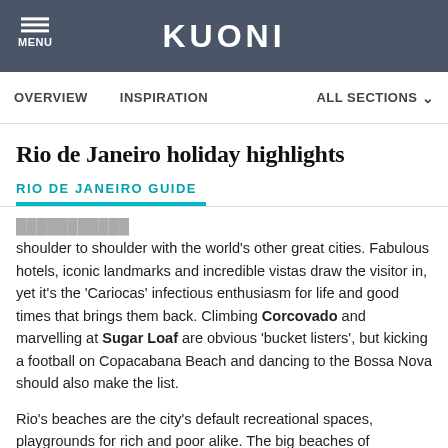KUONI
OVERVIEW  INSPIRATION  ALL SECTIONS
Rio de Janeiro holiday highlights
RIO DE JANEIRO GUIDE
shoulder to shoulder with the world's other great cities. Fabulous hotels, iconic landmarks and incredible vistas draw the visitor in, yet it's the 'Cariocas' infectious enthusiasm for life and good times that brings them back. Climbing Corcovado and marvelling at Sugar Loaf are obvious 'bucket listers', but kicking a football on Copacabana Beach and dancing to the Bossa Nova should also make the list.
Rio's beaches are the city's default recreational spaces, playgrounds for rich and poor alike. The big beaches of Copacabana and Ipanema, along with neighbouring